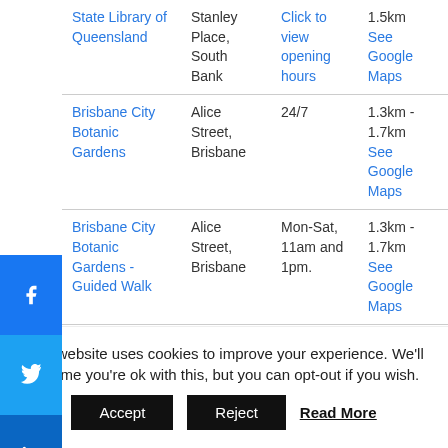| Location | Address | Hours | Distance |
| --- | --- | --- | --- |
| State Library of Queensland | Stanley Place, South Bank | Click to view opening hours | 1.2km
1.5km
See Google Maps |
| Brisbane City Botanic Gardens | Alice Street, Brisbane | 24/7 | 1.3km - 1.7km
See Google Maps |
| Brisbane City Botanic Gardens - Guided Walk | Alice Street, Brisbane | Mon-Sat, 11am and 1pm. | 1.3km - 1.7km
See Google Maps |
This website uses cookies to improve your experience. We'll assume you're ok with this, but you can opt-out if you wish.